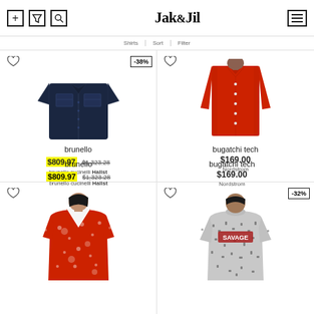Jak&Jil — navigation header with filter, sort, search icons and hamburger menu
Filter bar with navigation options
[Figure (photo): Dark navy denim short-sleeve shirt with chest pockets, -38% discount badge]
brunello
$809.97 $1,323.28
brunello cucinelli Hallst
[Figure (photo): Red long-sleeve button-up shirt worn by male model]
bugatchi tech
$169.00
Nordstrom
[Figure (photo): Red floral short-sleeve v-neck top worn by female model]
[Figure (photo): Grey graphic t-shirt with SAVAGE print, -32% discount badge]